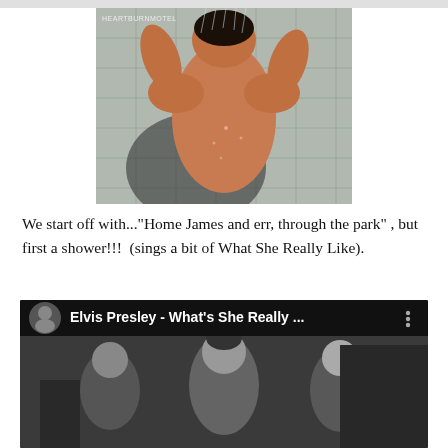[Figure (photo): Person showering, seen from behind, with tiled wall, watermark HEARTBURNMOTEL visible top left]
We start off with..."Home James and err, through the park", but first a shower!!!  (sings a bit of What She Really Like).
[Figure (screenshot): YouTube video thumbnail/player showing Elvis Presley - What's She Really ... with three young men in black and white scene and a circular avatar icon top left]